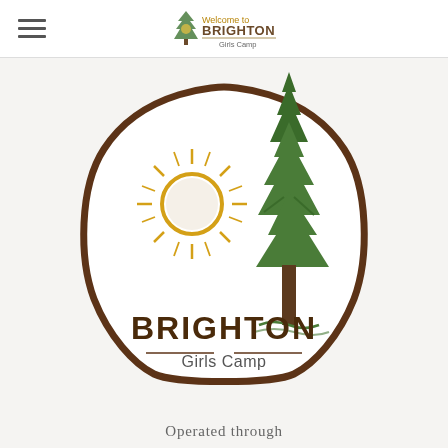Welcome to BRIGHTON Girls Camp
[Figure (logo): Brighton Girls Camp logo: a rounded triangle shape with brown border containing a golden sun with rays and a tall green pine tree, with text 'BRIGHTON Girls Camp' below the imagery inside the shape]
Operated through